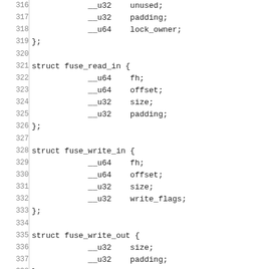Code listing lines 316-345 showing C struct definitions for fuse_read_in, fuse_write_in, fuse_write_out, fuse_statfs_out, and a #define for FUSE_COMPAT_STATFS_SIZE 48